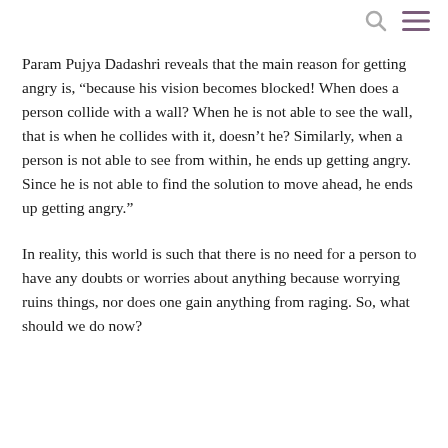Param Pujya Dadashri reveals that the main reason for getting angry is, “because his vision becomes blocked! When does a person collide with a wall? When he is not able to see the wall, that is when he collides with it, doesn’t he? Similarly, when a person is not able to see from within, he ends up getting angry. Since he is not able to find the solution to move ahead, he ends up getting angry.”
In reality, this world is such that there is no need for a person to have any doubts or worries about anything because worrying ruins things, nor does one gain anything from raging. So, what should we do now?